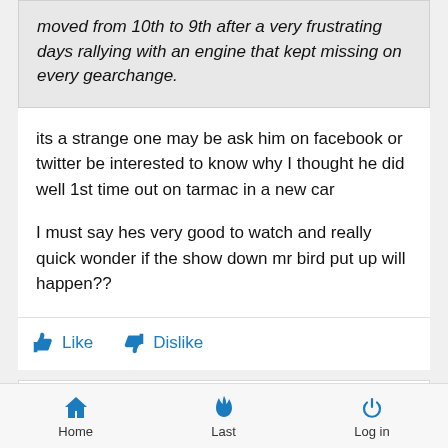moved from 10th to 9th after a very frustrating days rallying with an engine that kept missing on every gearchange.
its a strange one may be ask him on facebook or twitter be interested to know why I thought he did well 1st time out on tarmac in a new car
I must say hes very good to watch and really quick wonder if the show down mr bird put up will happen??
Like   Dislike
Mon Mar 30, 2015 8:00 pm
by Speedy
Home   Last   Log in